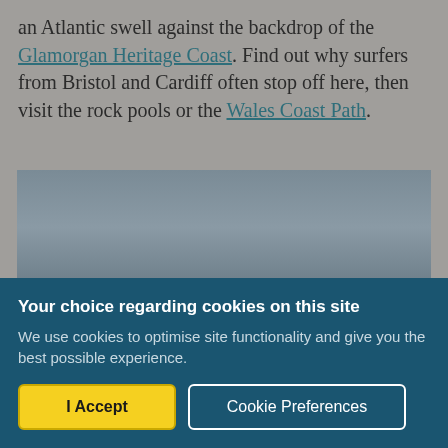an Atlantic swell against the backdrop of the Glamorgan Heritage Coast. Find out why surfers from Bristol and Cardiff often stop off here, then visit the rock pools or the Wales Coast Path.
[Figure (photo): A seascape photograph showing a grey-toned coastal scene with muted sky and water.]
Your choice regarding cookies on this site
We use cookies to optimise site functionality and give you the best possible experience.
[I Accept] [Cookie Preferences]